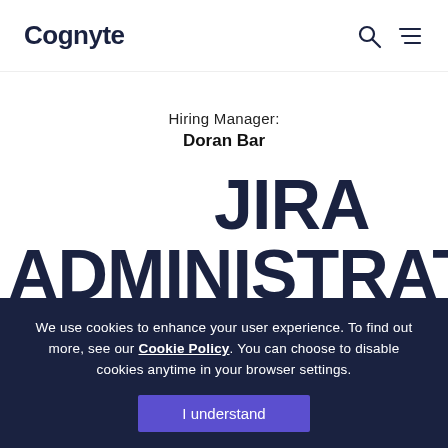Cognyte
Hiring Manager:
Doran Bar
JIRA ADMINISTRATOR
We use cookies to enhance your user experience. To find out more, see our Cookie Policy. You can choose to disable cookies anytime in your browser settings.
I understand